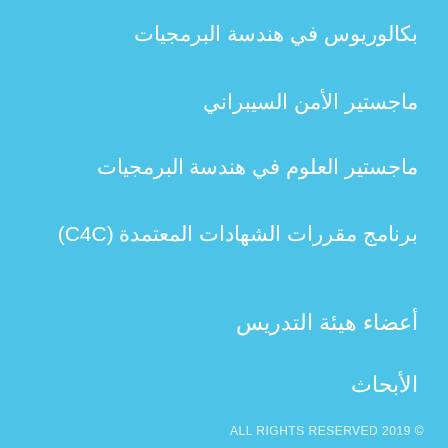بكالوريوس في هندسة البرمجيات
ماجستير الأمن السيبراني
ماجستير العلوم في هندسة البرمجيات
برنامج مقررات الشهادات المعتمدة (C4C)
أعضاء هيئة التدريس
الأبحاث
ALL RIGHTS RESERVED 2019 ©